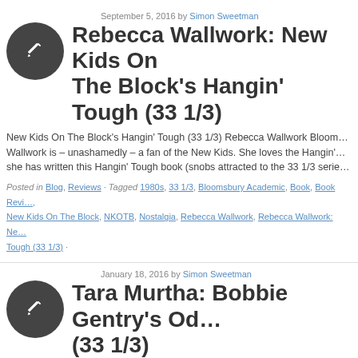September 5, 2016 by Simon Sweetman
Rebecca Wallwork: New Kids On The Block's Hangin' Tough (33 1/3)
New Kids On The Block's Hangin' Tough (33 1/3) Rebecca Wallwork Bloomsbury Academic… Wallwork is – unashamedly – a fan of the New Kids. She loves the Hangin'… she has written this Hangin' Tough book (snobs attracted to the 33 1/3 serie…
Posted in Blog, Reviews · Tagged 1980s, 33 1/3, Bloomsbury Academic, Book, Book Revi…, New Kids On The Block, NKOTB, Nostalgia, Rebecca Wallwork, Rebecca Wallwork: Ne… Tough (33 1/3) ·
January 18, 2016 by Simon Sweetman
Tara Murtha: Bobbie Gentry's Ode To Billie Joe (33 1/3)
Bobbie Gentry's Ode To Billie Joe (33 1/3) Tara Murtha Bloomsbury Academ…